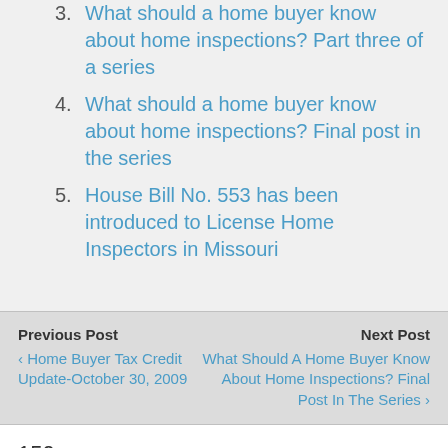3. What should a home buyer know about home inspections? Part three of a series
4. What should a home buyer know about home inspections? Final post in the series
5. House Bill No. 553 has been introduced to License Home Inspectors in Missouri
Previous Post
‹ Home Buyer Tax Credit Update-October 30, 2009
Next Post
What Should A Home Buyer Know About Home Inspections? Final Post In The Series ›
150 responses